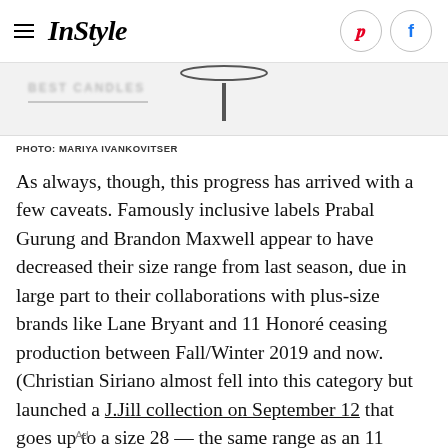InStyle
[Figure (photo): Partial product photo strip — bottom edge of a glass or table object on light background, with blurred text overlay on the left]
PHOTO: MARIYA IVANKOVITSER
As always, though, this progress has arrived with a few caveats. Famously inclusive labels Prabal Gurung and Brandon Maxwell appear to have decreased their size range from last season, due in large part to their collaborations with plus-size brands like Lane Bryant and 11 Honoré ceasing production between Fall/Winter 2019 and now. (Christian Siriano almost fell into this category but launched a J.Jill collection on September 12 that goes up to a size 28 — the same range as an 11 Honoré line he put out last season, which is still available but now only